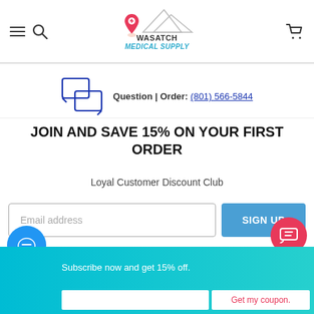[Figure (logo): Wasatch Medical Supply logo with mountain graphic and map pin icon]
Question | Order: (801) 566-5844
JOIN AND SAVE 15% ON YOUR FIRST ORDER
Loyal Customer Discount Club
[Figure (screenshot): Email address input field and SIGN UP button]
Subscribe now and get 15% off.
[Figure (screenshot): Email input field and Get my coupon. button in teal banner]